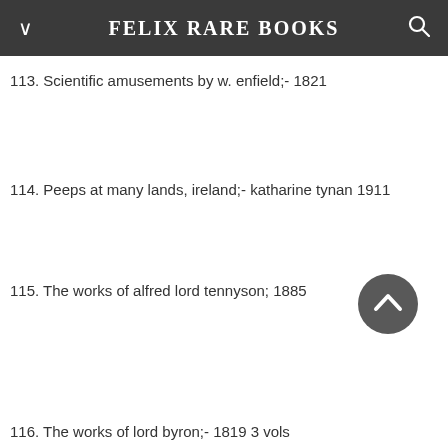FELIX RARE BOOKS
113. Scientific amusements by w. enfield;- 1821
114. Peeps at many lands, ireland;- katharine tynan 1911
115. The works of alfred lord tennyson; 1885
116. The works of lord byron;- 1819 3 vols